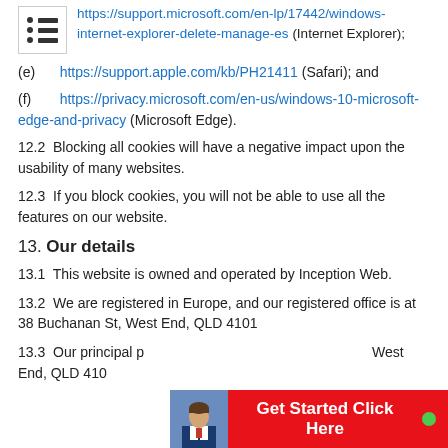https://support.microsoft.com/en-lp/17442/windows-internet-explorer-delete-manage-es (Internet Explorer);
(e) https://support.apple.com/kb/PH21411 (Safari); and
(f) https://privacy.microsoft.com/en-us/windows-10-microsoft-edge-and-privacy (Microsoft Edge).
12.2  Blocking all cookies will have a negative impact upon the usability of many websites.
12.3  If you block cookies, you will not be able to use all the features on our website.
13. Our details
13.1  This website is owned and operated by Inception Web.
13.2  We are registered in Europe, and our registered office is at 38 Buchanan St, West End, QLD 4101
13.3  Our principal p... West End, QLD 410...
[Figure (infographic): Red CTA banner with photo of a man in suit and text 'Get Started Click Here' with a green dot]